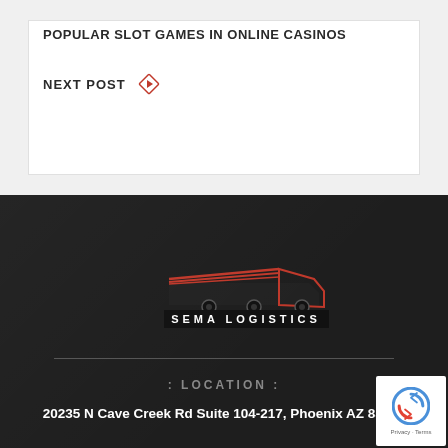POPULAR SLOT GAMES IN ONLINE CASINOS
NEXT POST →
[Figure (logo): Sema Logistics company logo: red stylized truck graphic above white text 'SEMA LOGISTICS' on black background]
: LOCATION :
20235 N Cave Creek Rd Suite 104-217, Phoenix AZ 85024